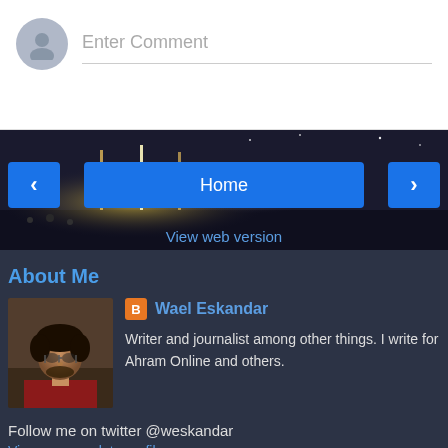Enter Comment
[Figure (screenshot): Dark city lights background image with crowd and street lamps at night]
Home
View web version
About Me
[Figure (photo): Profile photo of a young man with curly hair and glasses]
Wael Eskandar
Writer and journalist among other things. I write for Ahram Online and others.
Follow me on twitter @weskandar
View my complete profile